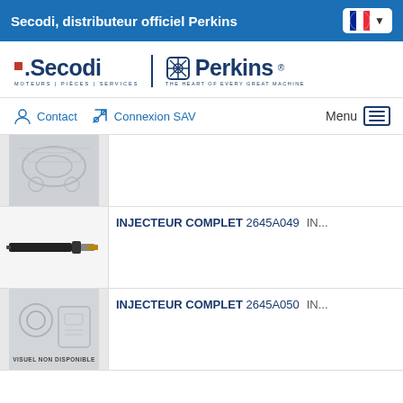Secodi, distributeur officiel Perkins
[Figure (logo): Secodi and Perkins logos side by side]
Contact   Connexion SAV   Menu
[Figure (photo): Partial product image (gasket set) at top, partially visible]
INJECTEUR COMPLET 2645A049  INJ...
[Figure (photo): Fuel injector product image]
INJECTEUR COMPLET 2645A050  INJ...
[Figure (photo): Product image with VISUEL NON DISPONIBLE label]